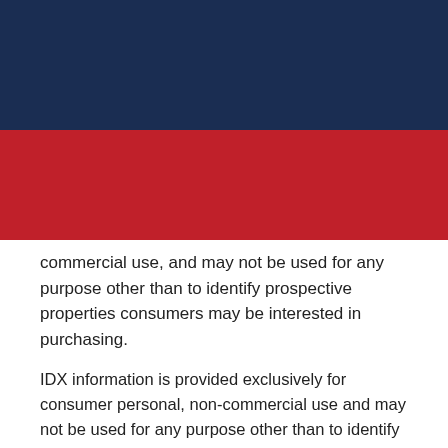[Figure (other): Dark navy blue header bar at top of page, followed by a red navigation bar with a hamburger menu icon on the right side.]
commercial use, and may not be used for any purpose other than to identify prospective properties consumers may be interested in purchasing.
IDX information is provided exclusively for consumer personal, non-commercial use and may not be used for any purpose other than to identify prospective properties consumers may be interested in purchasing. Data is deemed reliable but is not guaranteed accurate by the MLS. This content last updated on {listing_last_updated}. Some properties which appear for sale on this web site may subsequently have sold or may no longer be available.